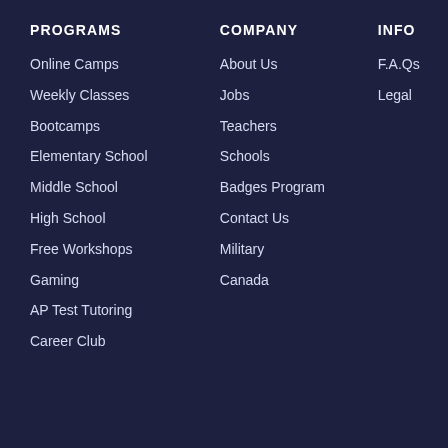PROGRAMS
Online Camps
Weekly Classes
Bootcamps
Elementary School
Middle School
High School
Free Workshops
Gaming
AP Test Tutoring
Career Club
COMPANY
About Us
Jobs
Teachers
Schools
Badges Program
Contact Us
Military
Canada
INFO
F.A.Qs
Legal